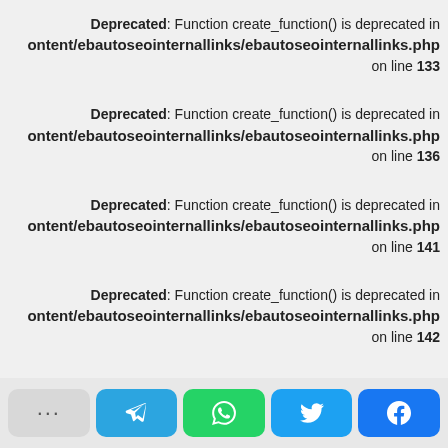Deprecated: Function create_function() is deprecated in ontent/ebautoseointernallinks/ebautoseointernallinks.php on line 133
Deprecated: Function create_function() is deprecated in ontent/ebautoseointernallinks/ebautoseointernallinks.php on line 136
Deprecated: Function create_function() is deprecated in ontent/ebautoseointernallinks/ebautoseointernallinks.php on line 141
Deprecated: Function create_function() is deprecated in ontent/ebautoseointernallinks/ebautoseointernallinks.php on line 142
[Figure (other): Mobile share/action bar with five buttons: more (...), Telegram, WhatsApp, Twitter, Facebook]